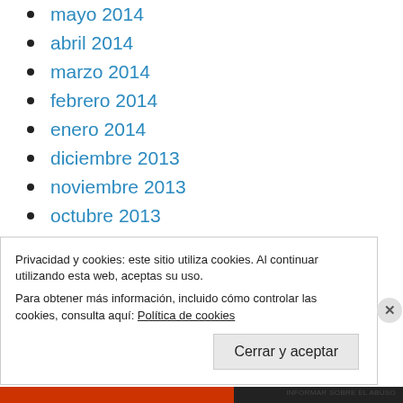mayo 2014
abril 2014
marzo 2014
febrero 2014
enero 2014
diciembre 2013
noviembre 2013
octubre 2013
septiembre 2013
agosto 2013
julio 2013
Privacidad y cookies: este sitio utiliza cookies. Al continuar utilizando esta web, aceptas su uso.
Para obtener más información, incluido cómo controlar las cookies, consulta aquí: Política de cookies
INFORMAR SOBRE EL ABUSO